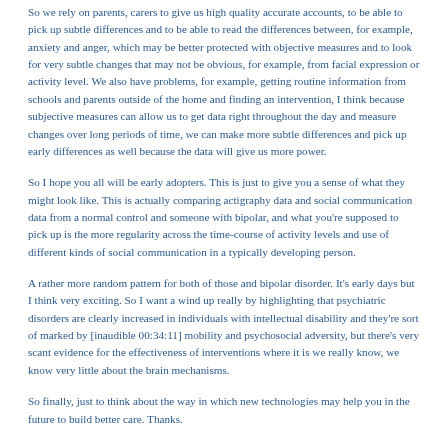So we rely on parents, carers to give us high quality accurate accounts, to be able to pick up subtle differences and to be able to read the differences between, for example, anxiety and anger, which may be better protected with objective measures and to look for very subtle changes that may not be obvious, for example, from facial expression or activity level. We also have problems, for example, getting routine information from schools and parents outside of the home and finding an intervention, I think because subjective measures can allow us to get data right throughout the day and measure changes over long periods of time, we can make more subtle differences and pick up early differences as well because the data will give us more power.
So I hope you all will be early adopters. This is just to give you a sense of what they might look like. This is actually comparing actigraphy data and social communication data from a normal control and someone with bipolar, and what you're supposed to pick up is the more regularity across the time-course of activity levels and use of different kinds of social communication in a typically developing person.
A rather more random pattern for both of those and bipolar disorder. It's early days but I think very exciting. So I want a wind up really by highlighting that psychiatric disorders are clearly increased in individuals with intellectual disability and they're sort of marked by [inaudible 00:34:11] mobility and psychosocial adversity, but there's very scant evidence for the effectiveness of interventions where it is we really know, we know very little about the brain mechanisms.
So finally, just to think about the way in which new technologies may help you in the future to build better care. Thanks.